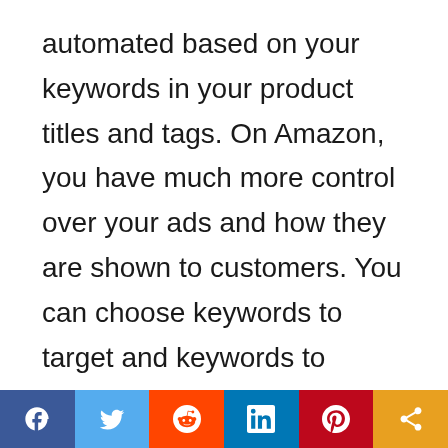automated based on your keywords in your product titles and tags.  On Amazon, you have much more control over your ads and how they are shown to customers.  You can choose keywords to target and keywords to eliminate and lots of other ways you can customize your ads.  The Etsy ads are less intimidating for a beginner, but if your keywords aren't great, you could be
[Figure (other): Social sharing bar with buttons for Facebook, Twitter, Reddit, LinkedIn, Pinterest, and generic share]